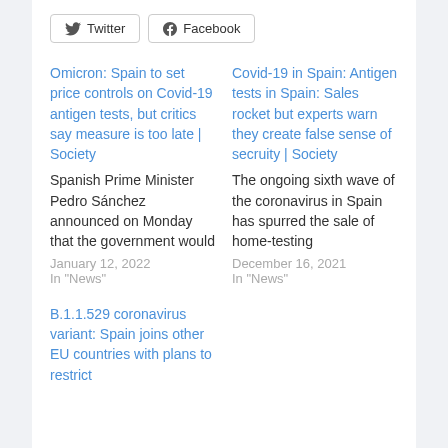[Figure (other): Twitter and Facebook share buttons]
Omicron: Spain to set price controls on Covid-19 antigen tests, but critics say measure is too late | Society
Spanish Prime Minister Pedro Sánchez announced on Monday that the government would
January 12, 2022
In "News"
Covid-19 in Spain: Antigen tests in Spain: Sales rocket but experts warn they create false sense of secruity | Society
The ongoing sixth wave of the coronavirus in Spain has spurred the sale of home-testing
December 16, 2021
In "News"
B.1.1.529 coronavirus variant: Spain joins other EU countries with plans to restrict